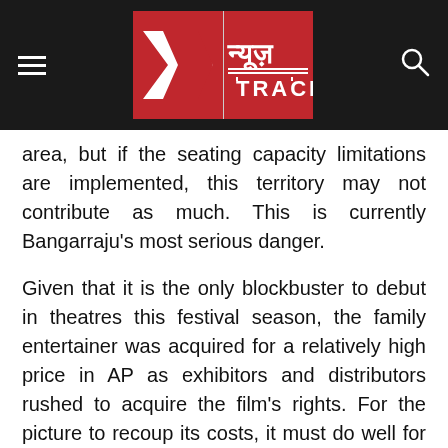News Track
area, but if the seating capacity limitations are implemented, this territory may not contribute as much. This is currently Bangarraju's most serious danger.
Given that it is the only blockbuster to debut in theatres this festival season, the family entertainer was acquired for a relatively high price in AP as exhibitors and distributors rushed to acquire the film's rights. For the picture to recoup its costs, it must do well for at least a couple of weeks. But, with the implementation of the aforementioned laws in AP, would it be able to do so? We'll have to wait and see